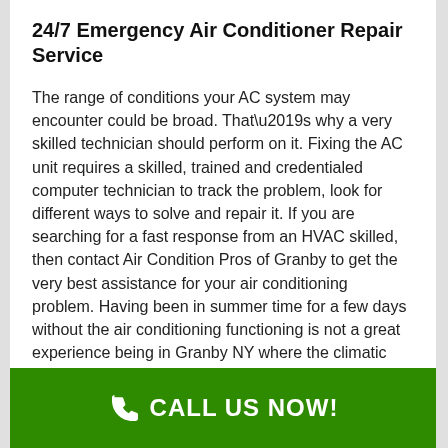24/7 Emergency Air Conditioner Repair Service
The range of conditions your AC system may encounter could be broad. That’s why a very skilled technician should perform on it. Fixing the AC unit requires a skilled, trained and credentialed computer technician to track the problem, look for different ways to solve and repair it. If you are searching for a fast response from an HVAC skilled, then contact Air Condition Pros of Granby to get the very best assistance for your air conditioning problem. Having been in summer time for a few days without the air conditioning functioning is not a great experience being in Granby NY where the climatic conditions is very hot. If you need an immediate response to a flawed or broken unit, our superior 24-hour Emergency Air Conditioning Repair is available from an experienced AC Repair technician with all the right tools to service your
CALL US NOW!